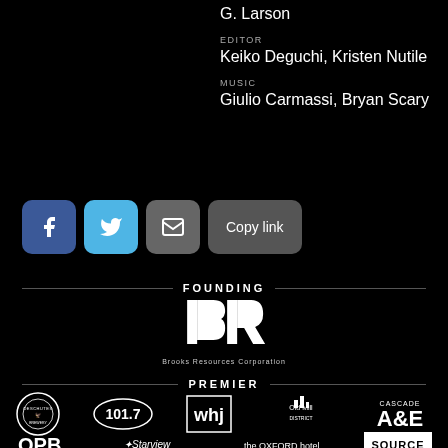G. Larson
EDITOR
Keiko Deguchi, Kristen Nutile
MUSIC
Giulio Carmassi, Bryan Scary
[Figure (other): Social sharing buttons: Facebook (blue), Twitter (light blue), Email (gray), Copy link (gray)]
FOUNDING
[Figure (logo): Brooks Resources Corporation logo - white double-R stylized lettermark above text 'Brooks Resources Corporation']
PREMIER
[Figure (logo): Row of sponsor logos: Deschutes (circular), 101.7 (oval), whj (square), Old Mill District, Cascade A&E, and second row: OPB, Starview Foundation, The Oxford Hotel, SOURCE]